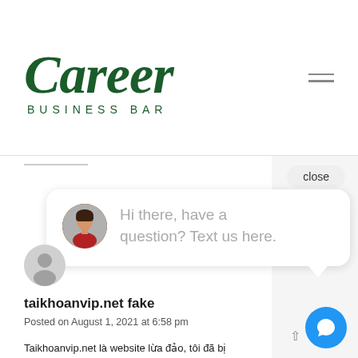[Figure (logo): Career Business Bar logo in dark green cursive and sans-serif lettering]
[Figure (screenshot): Website screenshot showing a chat popup with avatar and text 'Hi there, have a question? Text us here.' with close button, plus a user comment section with post title 'taikhoanvip.net fake', date 'Posted on August 1, 2021 at 6:58 pm', and partial Vietnamese text 'Taikhoanvip.net là website lừa đảo, tôi đã bị']